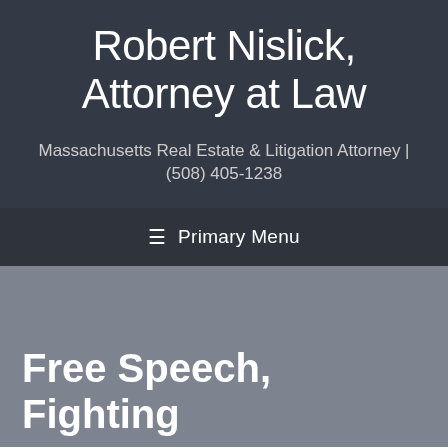Robert Nislick, Attorney at Law
Massachusetts Real Estate & Litigation Attorney | (508) 405-1238
≡ Primary Menu
Free Speech, Fighting